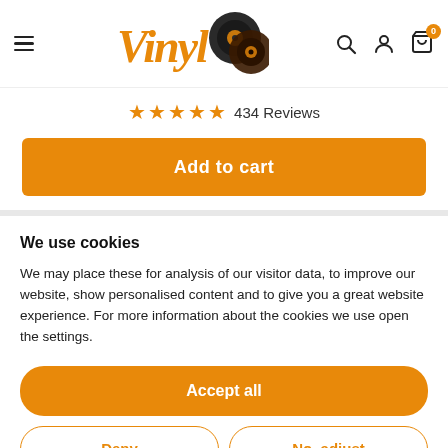[Figure (logo): Vinyl8 logo with orange stylized text and vinyl record icons]
★★★★★ 434 Reviews
Add to cart
We use cookies
We may place these for analysis of our visitor data, to improve our website, show personalised content and to give you a great website experience. For more information about the cookies we use open the settings.
Accept all
Deny
No, adjust